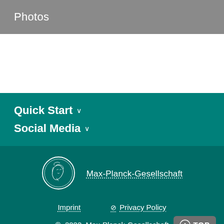Photos
Quick Start ∨
Social Media ∨
[Figure (logo): Max-Planck-Gesellschaft circular coin logo with profile portrait]
Max-Planck-Gesellschaft
Imprint   Privacy Policy
© 2022, Max-Planck-Gesellschaft   TOP